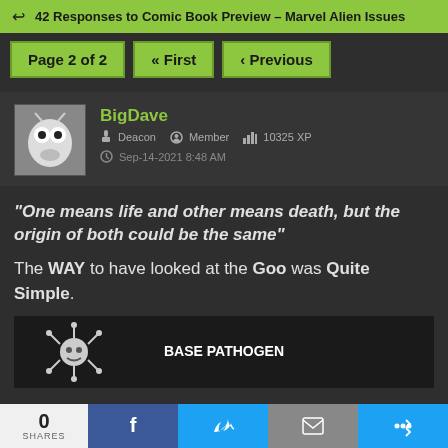42 Responses to Comic Book Preview – Marvel Alien Issues
Page 2 of 2   « First   ‹ Previous
BigDave
Deacon   Member   10325 XP
Sep-14-2021 8:48 AM
"One means life and other means death, but the origin of both could be the same"
The WAY to have looked at the Goo was Quite Simple.
[Figure (illustration): Dark background illustration showing a pathogen/virus-like creature labeled BASE PATHOGEN]
0 SHARES